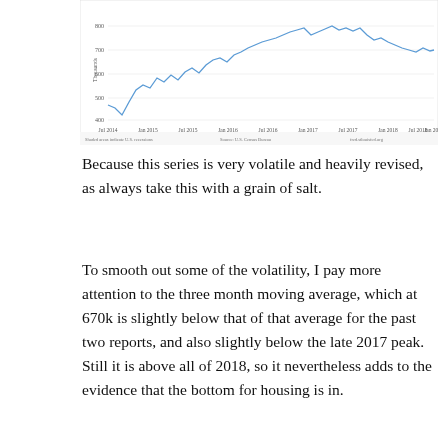[Figure (continuous-plot): Line chart showing housing data (Thousands) from Jul 2014 to Jan 2019. Y-axis ranges from about 400 to 800 thousands. The line trends upward from around 440 in mid-2014 to peaks near 700+ in late 2017, with significant volatility throughout. Shaded areas indicate U.S. recessions. Source: U.S. Census Bureau, fred.stlouisfed.org]
Because this series is very volatile and heavily revised, as always take this with a grain of salt.
To smooth out some of the volatility, I pay more attention to the three month moving average, which at 670k is slightly below that of that average for the past two reports, and also slightly below the late 2017 peak. Still it is above all of 2018, so it nevertheless adds to the evidence that the bottom for housing is in.